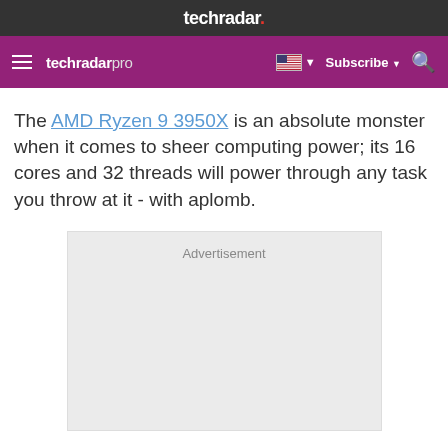techradar.
techradar pro   Subscribe
The AMD Ryzen 9 3950X is an absolute monster when it comes to sheer computing power; its 16 cores and 32 threads will power through any task you throw at it - with aplomb.
[Figure (other): Advertisement placeholder box]